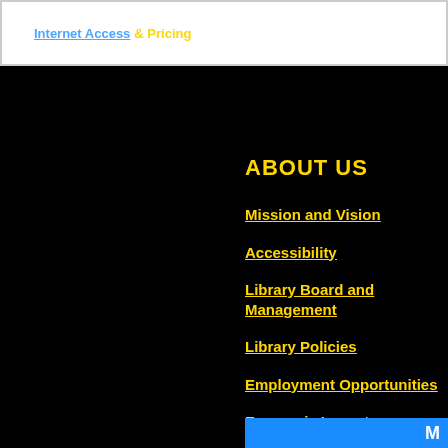Internet Access & Pricing
ABOUT US
Mission and Vision
Accessibility
Library Board and Management
Library Policies
Employment Opportunities
Economic Impact
News and Publications
Library History